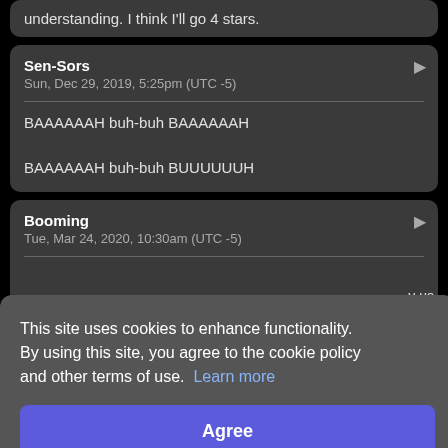understanding. I think I'll go 4 stars.
Sen-Sors
Sun, Dec 29, 2019, 5:25pm (UTC -5)

BAAAAAAH buh-buh BAAAAAAH

BAAAAAAH buh-buh BUUUUUUH
Booming
Tue, Mar 24, 2020, 10:30am (UTC -5)
This site uses cookies to enhance functionality. By using this site, you agree to the cookie policy and other terms of use. Learn more
Agree
bottomless pit